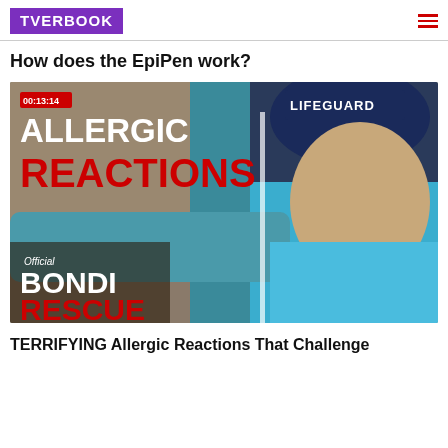TVERBOOK
How does the EpiPen work?
[Figure (screenshot): Video thumbnail for 'TERRIFYING Allergic Reactions That Challenge Lifeguards' from Official Bondi Rescue channel. Shows a lifeguard in a navy cap labeled LIFEGUARD, a person lying down, and overlay text: 00:13:14, ALLERGIC REACTIONS, Official BONDI RESCUE.]
TERRIFYING Allergic Reactions That Challenge Lifeguards